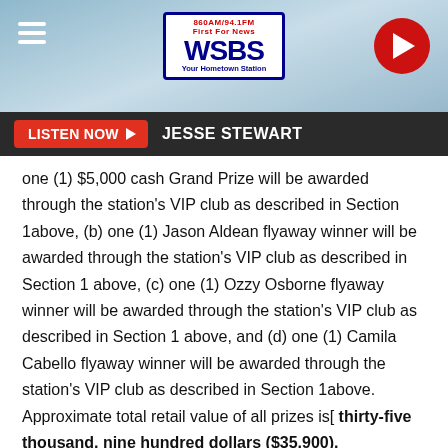860AM/94.1FM WSBS First For News Your Hometown Station
LISTEN NOW ▶  JESSE STEWART
one (1) $5,000 cash Grand Prize will be awarded through the station's VIP club as described in Section 1above, (b) one (1) Jason Aldean flyaway winner will be awarded through the station's VIP club as described in Section 1 above, (c) one (1) Ozzy Osborne flyaway winner will be awarded through the station's VIP club as described in Section 1 above, and (d) one (1) Camila Cabello flyaway winner will be awarded through the station's VIP club as described in Section 1above. Approximate total retail value of all prizes is[ thirty-five thousand, nine hundred dollars ($35,900).
If chosen as a winner, entrant must return the station's call or email within 48 hours or risk forfeiture of prize. If station is